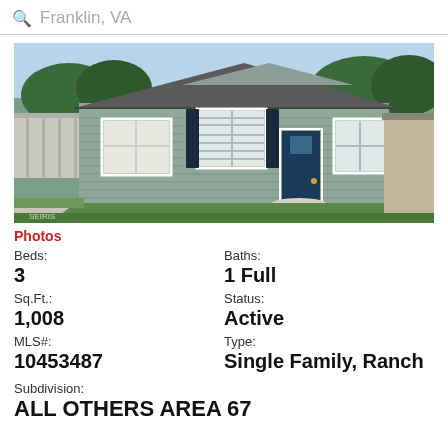Franklin, VA
[Figure (photo): Exterior photo of a single-story ranch-style house with gray-green siding, black shutters, a blue front door, concrete steps, and a green lawn. A neighboring beige house is visible on the right.]
Photos
Beds:
3
Baths:
1 Full
Sq.Ft.:
1,008
Status:
Active
MLS#:
10453487
Type:
Single Family, Ranch
Subdivision:
ALL OTHERS AREA 67